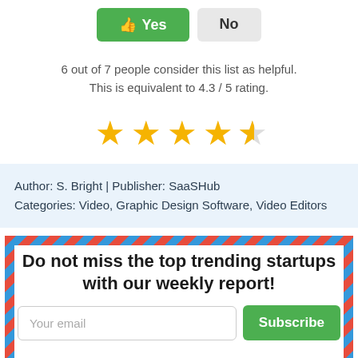👍 Yes | No
6 out of 7 people consider this list as helpful. This is equivalent to 4.3 / 5 rating.
[Figure (other): 4.3 out of 5 stars rating shown with 4 full gold stars and 1 half gold star]
Author: S. Bright | Publisher: SaaSHub
Categories: Video, Graphic Design Software, Video Editors
Do not miss the top trending startups with our weekly report!
Your email | Subscribe